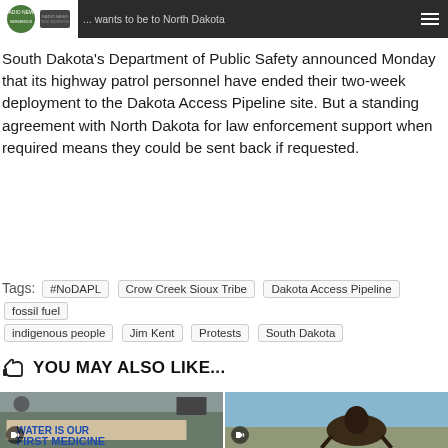... wants to be to North Dakota
South Dakota's Department of Public Safety announced Monday that its highway patrol personnel have ended their two-week deployment to the Dakota Access Pipeline site. But a standing agreement with North Dakota for law enforcement support when required means they could be sent back if requested.
Tags: #NoDAPL  Crow Creek Sioux Tribe  Dakota Access Pipeline  fossil fuel  indigenous people  Jim Kent  Protests  South Dakota
YOU MAY ALSO LIKE...
[Figure (photo): Protest scene with banner reading 'WATER IS OUR FIRST MEDICINE']
[Figure (photo): Person on horseback against a blue sky]